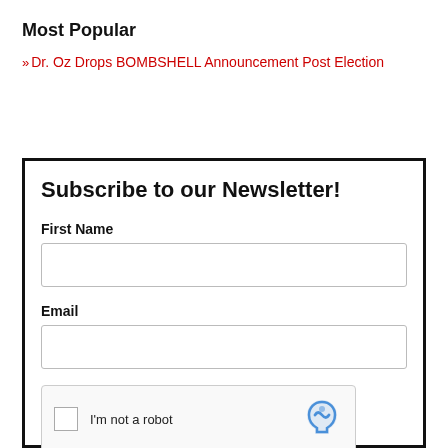Most Popular
» Dr. Oz Drops BOMBSHELL Announcement Post Election
Subscribe to our Newsletter!
First Name
Email
I'm not a robot